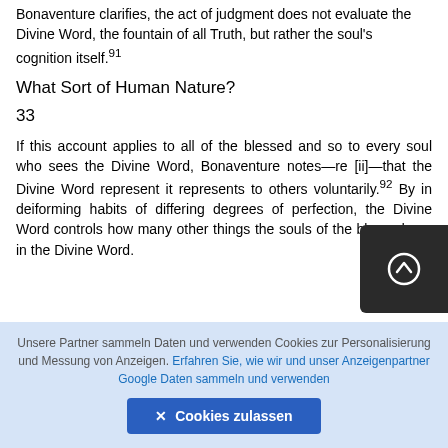Bonaventure clarifies, the act of judgment does not evaluate the Divine Word, the fountain of all Truth, but rather the soul's cognition itself.91
What Sort of Human Nature?
33
If this account applies to all of the blessed and so to every soul who sees the Divine Word, Bonaventure notes—re [ii]—that the Divine Word represents it represents to others voluntarily.92 By in deiforning habits of differing degrees of perfection, the Divine Word controls how many other things the souls of the blessed see in the Divine Word.
Unsere Partner sammeln Daten und verwenden Cookies zur Personalisierung und Messung von Anzeigen. Erfahren Sie, wie wir und unser Anzeigenpartner Google Daten sammeln und verwenden
✕ Cookies zulassen